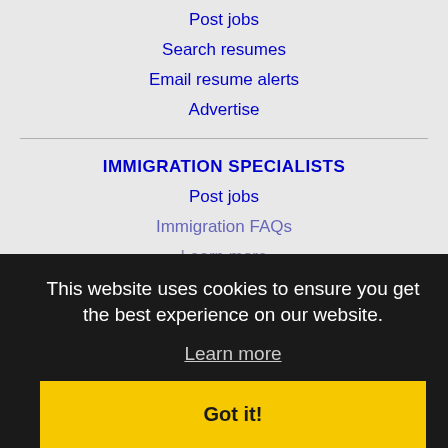Post jobs
Search resumes
Email resume alerts
Advertise
IMMIGRATION SPECIALISTS
Post jobs
Immigration FAQs
Learn more
LEARN MORE
FAQ
Contact us
Sitemap
Legal
This website uses cookies to ensure you get the best experience on our website.
Learn more
Got it!